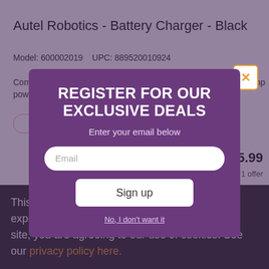Autel Robotics - Battery Charger - Black
Model: 600002019    UPC: 889520010924
Compatible with Autel Robotics EVO II drones; 13.2V output; 5-amp power output
[Figure (screenshot): Modal popup overlay with purple background containing email signup form. Title: REGISTER FOR OUR EXCLUSIVE DEALS. Subtitle: Enter your email below. Email input field. Sign up button. No, I don't want it link. Orange X close button in top right.]
$85.99
1 offer
ADD TO COMPARE
This site uses cookies to enhance your web site experience. By continuing to browse or use this site, you are agreeing to our use of cookies. See our privacy policy here.